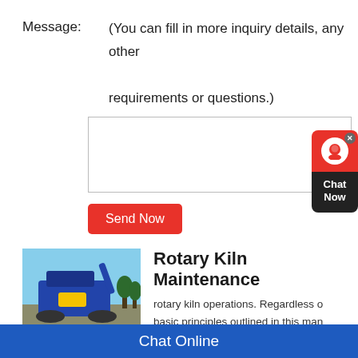Message:
(You can fill in more inquiry details, any other requirements or questions.)
Send Now
Rotary Kiln Maintenance
rotary kiln operations. Regardless of basic principles outlined in this man every rotary kiln, calciner, dryer, inci application. For questions or proble
Chat Now
Chat Online